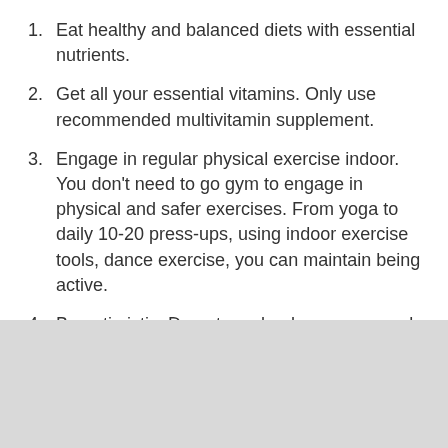Eat healthy and balanced diets with essential nutrients.
Get all your essential vitamins. Only use recommended multivitamin supplement.
Engage in regular physical exercise indoor. You don't need to go gym to engage in physical and safer exercises. From yoga to daily 10-20 press-ups, using indoor exercise tools, dance exercise, you can maintain being active.
Be optimistic. Do not overload your eyes and mind with negative news, especially from biased news outlets that spread more panic than informed resources on COVID-19.